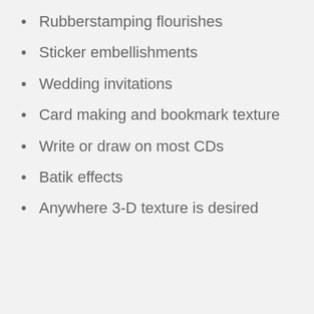Rubberstamping flourishes
Sticker embellishments
Wedding invitations
Card making and bookmark texture
Write or draw on most CDs
Batik effects
Anywhere 3-D texture is desired